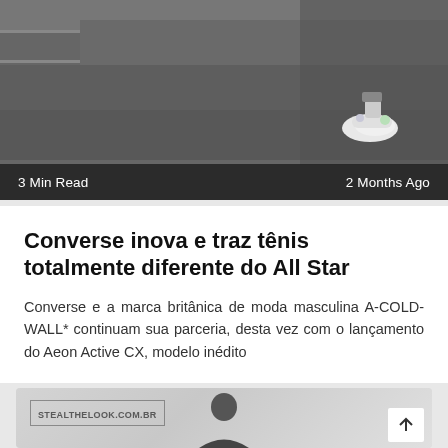[Figure (photo): Photo showing steps/stairs with a sneaker visible, dark overlay with metadata bar showing '3 Min Read' and '2 Months Ago']
3 Min Read
2 Months Ago
Converse inova e traz tênis totalmente diferente do All Star
Converse e a marca britânica de moda masculina A-COLD-WALL* continuam sua parceria, desta vez com o lançamento do Aeon Active CX, modelo inédito
[Figure (photo): Bottom card showing a person/model with STEALTHELOOK.COM.BR watermark and a scroll-to-top arrow button]